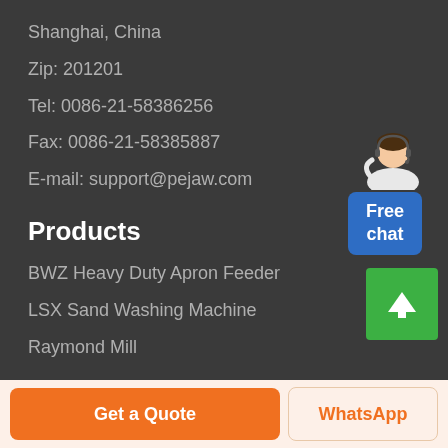Shanghai, China
Zip: 201201
Tel: 0086-21-58386256
Fax: 0086-21-58385887
E-mail: support@pejaw.com
[Figure (illustration): Customer service agent figure with Free chat button in blue]
Products
BWZ Heavy Duty Apron Feeder
LSX Sand Washing Machine
Raymond Mill
[Figure (other): Green scroll-to-top button with upward arrow]
Get a Quote
WhatsApp